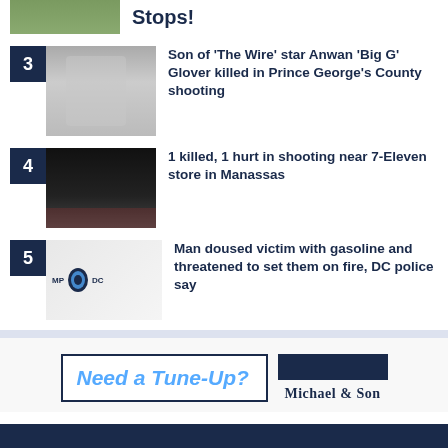[Figure (photo): Thumbnail image of outdoor green area, partially cropped at top]
Stops!
[Figure (photo): Thumbnail of man in white shirt outdoors, number 3 badge]
Son of 'The Wire' star Anwan 'Big G' Glover killed in Prince George's County shooting
[Figure (photo): Night scene with police lights, number 4 badge]
1 killed, 1 hurt in shooting near 7-Eleven store in Manassas
[Figure (photo): DC Metropolitan Police car door with badge logo, number 5 badge]
Man doused victim with gasoline and threatened to set them on fire, DC police say
[Figure (infographic): Advertisement: Need a Tune-Up? Michael & Son]